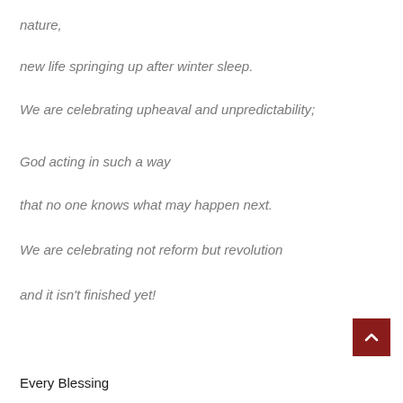nature,
new life springing up after winter sleep.
We are celebrating upheaval and unpredictability;
God acting in such a way
that no one knows what may happen next.
We are celebrating not reform but revolution
and it isn't finished yet!
Every Blessing